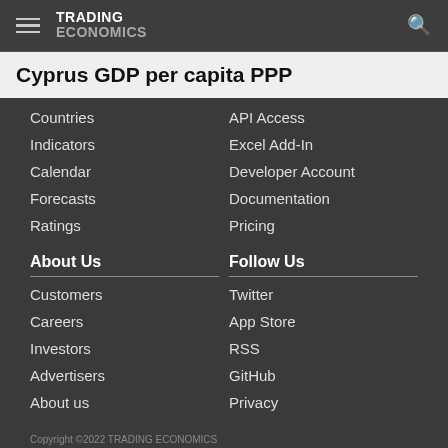TRADING ECONOMICS
Cyprus GDP per capita PPP
Countries
Indicators
Calendar
Forecasts
Ratings
API Access
Excel Add-In
Developer Account
Documentation
Pricing
About Us
Follow Us
Customers
Careers
Investors
Advertisers
About us
Twitter
App Store
RSS
GitHub
Privacy
Copyright ©2022 TRADING ECONOMICS
All Rights Reserved